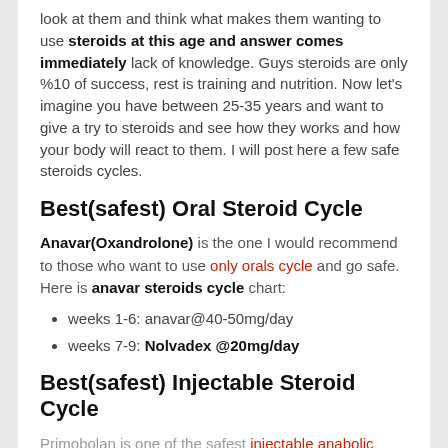look at them and think what makes them wanting to use steroids at this age and answer comes immediately lack of knowledge. Guys steroids are only %10 of success, rest is training and nutrition. Now let's imagine you have between 25-35 years and want to give a try to steroids and see how they works and how your body will react to them. I will post here a few safe steroids cycles.
Best(safest) Oral Steroid Cycle
Anavar(Oxandrolone) is the one I would recommend to those who want to use only orals cycle and go safe. Here is anavar steroids cycle chart:
weeks 1-6: anavar@40-50mg/day
weeks 7-9: Nolvadex @20mg/day
Best(safest) Injectable Steroid Cycle
Primobolan is one of the safest injectable anabolic steroids.